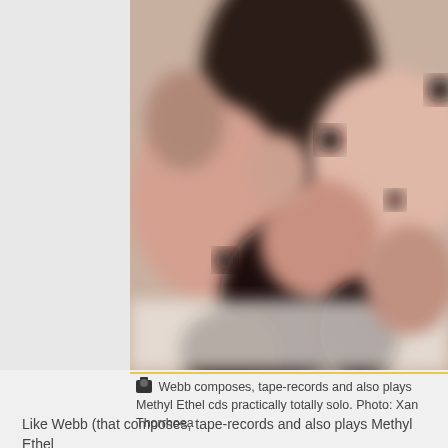[Figure (photo): Blurry close-up photograph of what appears to be multiple faces, with warm skin tones and dark shadows. The image is out of focus showing abstract patterns of peach, brown, and dark tones.]
Webb composes, tape-records and also plays Methyl Ethel cds practically totally solo. Photo: Xan Thorrhoea
Like Webb (that composes, tape-records and also plays Methyl Ethel